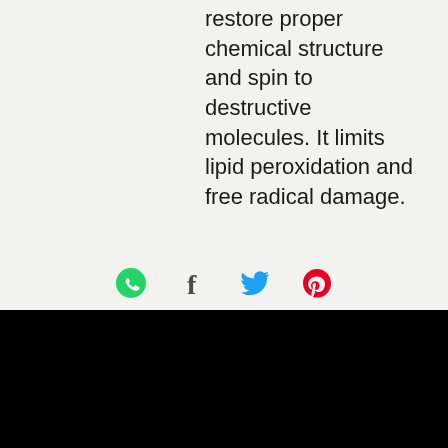restore proper chemical structure and spin to destructive molecules. It limits lipid peroxidation and free radical damage.
[Figure (other): Social sharing icons: WhatsApp (green), Facebook (dark), Twitter (blue), Pinterest (red)]
© 2020 by AWEsthetics LLC. Proudly created with Wix.com
7901 4th ST NW
Suite D
Los Ranchos, NM 87114